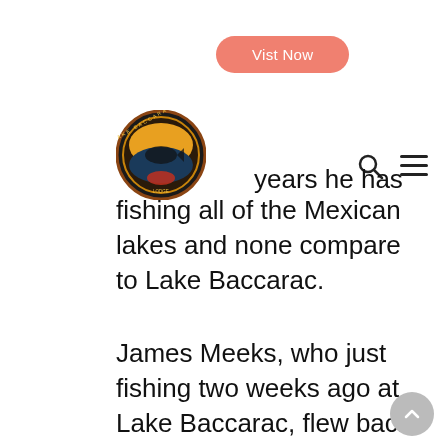[Figure (other): Orange rounded rectangle button with text 'Vist Now']
[Figure (logo): Lake Baccarac Lodge circular logo with fish illustration]
[Figure (other): Navigation icons: search magnifier and hamburger menu]
years he has fishing all of the Mexican lakes and none compare to Lake Baccarac.
James Meeks, who just fishing two weeks ago at Lake Baccarac, flew back to Chicago, gathered up a group and headed back to the lake yesterday. He has been fishing Mexican lakes for years and claims none compare to Lake Baccarac.
We had a lodge full of Japanese customers, which the majority only fished top water. All reported it was the best fishing experience they have ever had and got photos and videos to prove it.
[Figure (other): Scroll-to-top circular grey button with upward chevron]